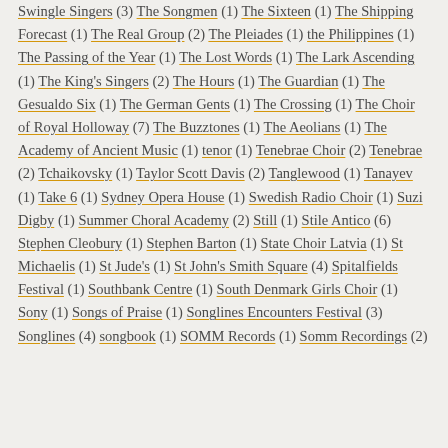Swingle Singers (3) The Songmen (1) The Sixteen (1) The Shipping Forecast (1) The Real Group (2) The Pleiades (1) the Philippines (1) The Passing of the Year (1) The Lost Words (1) The Lark Ascending (1) The King's Singers (2) The Hours (1) The Guardian (1) The Gesualdo Six (1) The German Gents (1) The Crossing (1) The Choir of Royal Holloway (7) The Buzztones (1) The Aeolians (1) The Academy of Ancient Music (1) tenor (1) Tenebrae Choir (2) Tenebrae (2) Tchaikovsky (1) Taylor Scott Davis (2) Tanglewood (1) Tanayev (1) Take 6 (1) Sydney Opera House (1) Swedish Radio Choir (1) Suzi Digby (1) Summer Choral Academy (2) Still (1) Stile Antico (6) Stephen Cleobury (1) Stephen Barton (1) State Choir Latvia (1) St Michaelis (1) St Jude's (1) St John's Smith Square (4) Spitalfields Festival (1) Southbank Centre (1) South Denmark Girls Choir (1) Sony (1) Songs of Praise (1) Songlines Encounters Festival (3) Songlines (4) songbook (1) SOMM Records (1) Somm Recordings (2)